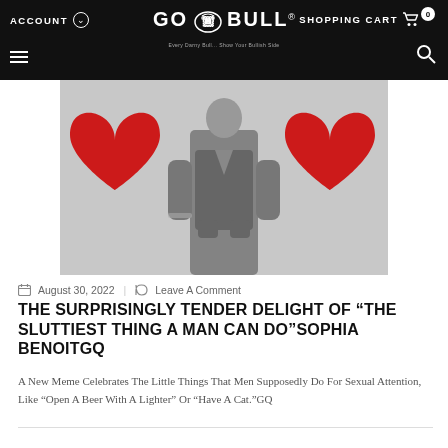ACCOUNT  SHOPPING CART 0  GO BULL
[Figure (photo): A man in a grey V-neck sweater standing between two large red heart-shaped balloons, photo in black and white with red hearts in color]
August 30, 2022  |  Leave A Comment
THE SURPRISINGLY TENDER DELIGHT OF "THE SLUTTIEST THING A MAN CAN DO"SOPHIA BENOITGQ
A New Meme Celebrates The Little Things That Men Supposedly Do For Sexual Attention, Like "Open A Beer With A Lighter" Or "Have A Cat."GQ